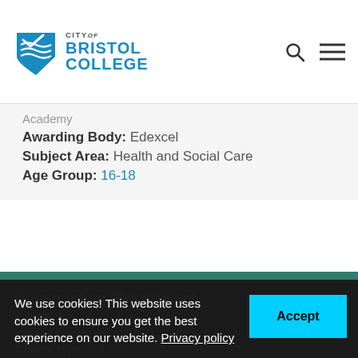[Figure (logo): City of Bristol College logo with shield icon and blue text]
Academy
Awarding Body: Edexcel
Subject Area: Health and Social Care
Age Group: 16-18
Construction (Bricklaying) Level 1
Level 1 Certificate
Course Type: Full-Time
Campus: Advanced Construction Skills Centre
Awarding Body: City & Guilds
Subject Area: Construction
We use cookies! This website uses cookies to ensure you get the best experience on our website. Privacy policy  Accept